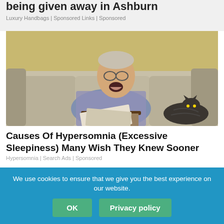being given away in Ashburn
Luxury Handbags | Sponsored Links | Sponsored
[Figure (photo): Elderly man with glasses sitting on a couch, mouth open as if yawning or sleeping, holding newspapers, with a cat beside him]
Causes Of Hypersomnia (Excessive Sleepiness) Many Wish They Knew Sooner
Hypersomnia | Search Ads | Sponsored
We use cookies to ensure that we give you the best experience on our website.
OK   Privacy policy